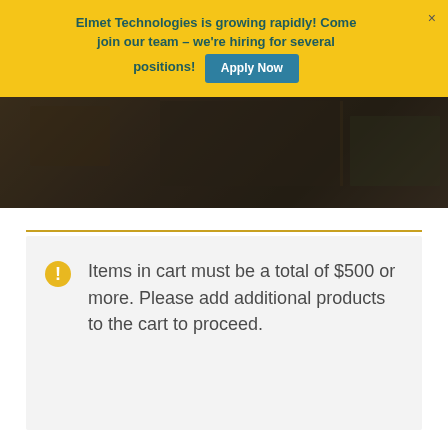Elmet Technologies is growing rapidly! Come join our team – we're hiring for several positions!
Apply Now
[Figure (photo): Industrial manufacturing machinery background photo with dark overlay]
Items in cart must be a total of $500 or more. Please add additional products to the cart to proceed.